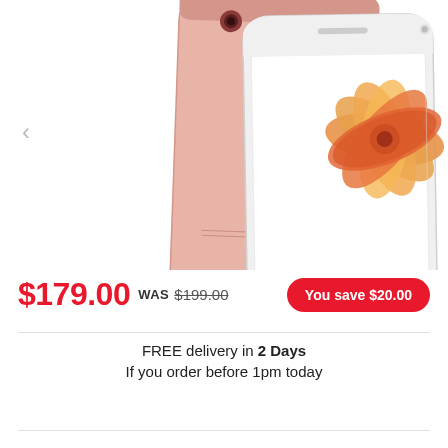[Figure (photo): iPhone 6s in Rose Gold shown from back (left) and front screen-side with flower wallpaper (right). Two devices overlapping each other.]
$179.00 WAS $199.00 You save $20.00
FREE delivery in 2 Days
If you order before 1pm today